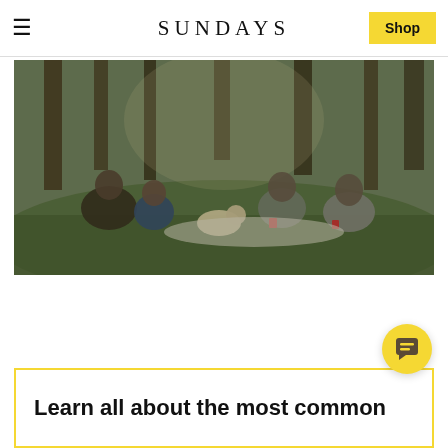SUNDAYS
What Are the Most Common Food Allergies in Dogs?
[Figure (photo): Four people and a small dog sitting together on grass in a park, having a picnic-style gathering outdoors with trees in background.]
Learn all about the most common